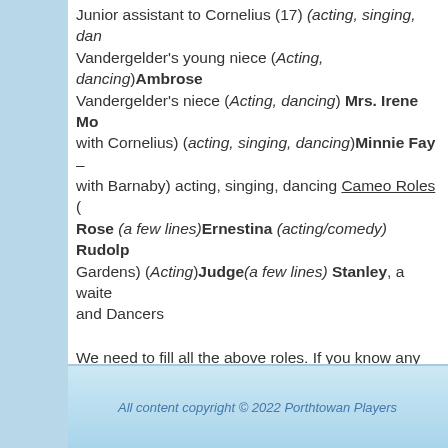Junior assistant to Cornelius (17) (acting, singing, dancing) Vandergelder's young niece (Acting, dancing) Ambrose Vandergelder's niece (Acting, dancing) Mrs. Irene Molloy with Cornelius) (acting, singing, dancing) Minnie Fay – (with Barnaby) acting, singing, dancing Cameo Roles (Cornelius) Rose (a few lines) Ernestina (acting/comedy) Rudolph (Gardens) (Acting) Judge (a few lines) Stanley, a waiter and Dancers
We need to fill all the above roles. If you know any potentially interested, please let them know. Please contact Di for audition pieces for any of the above, or if you have any questions Richard500@aol.com (NB If you can't make the audition we'll arrange a separate audition time for you.)
Posted: January 26th, 2013 under Uncategorized.
All content copyright © 2022 Porthtowan Players